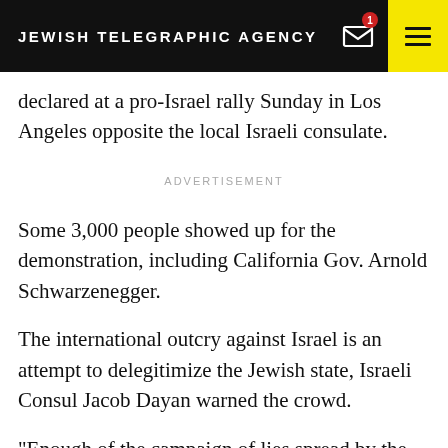JEWISH TELEGRAPHIC AGENCY
declared at a pro-Israel rally Sunday in Los Angeles opposite the local Israeli consulate.
ADVERTISEMENT
Some 3,000 people showed up for the demonstration, including California Gov. Arnold Schwarzenegger.
The international outcry against Israel is an attempt to delegitimize the Jewish state, Israeli Consul Jacob Dayan warned the crowd.
“Enough of the campaign of lies spread by the